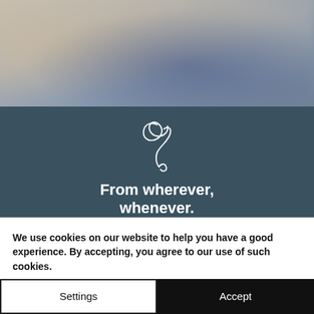[Figure (photo): Blurred photo of a person in a casual indoor setting, serving as a background header image]
[Figure (logo): Decorative script/calligraphy logo mark in white on dark teal background]
From wherever, whenever.
The Executive Impact Accelerator is a largely online
We use cookies on our website to help you have a good experience. By accepting, you agree to our use of such cookies.
Settings
Accept